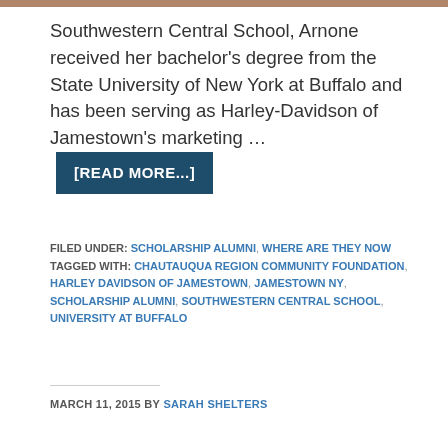[Figure (photo): Partial photo strip at top of page, cropped image of people]
Southwestern Central School, Arnone received her bachelor's degree from the State University of New York at Buffalo and has been serving as Harley-Davidson of Jamestown's marketing … [READ MORE...]
FILED UNDER: SCHOLARSHIP ALUMNI, WHERE ARE THEY NOW
TAGGED WITH: CHAUTAUQUA REGION COMMUNITY FOUNDATION, HARLEY DAVIDSON OF JAMESTOWN, JAMESTOWN NY, SCHOLARSHIP ALUMNI, SOUTHWESTERN CENTRAL SCHOOL, UNIVERSITY AT BUFFALO
MARCH 11, 2015 BY SARAH SHELTERS